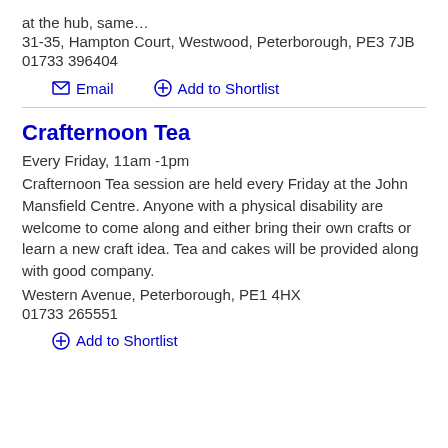at the hub, same…
31-35, Hampton Court, Westwood, Peterborough, PE3 7JB
01733 396404
Email | Add to Shortlist
Crafternoon Tea
Every Friday, 11am -1pm
Crafternoon Tea session are held every Friday at the John Mansfield Centre. Anyone with a physical disability are welcome to come along and either bring their own crafts or learn a new craft idea. Tea and cakes will be provided along with good company.
Western Avenue, Peterborough, PE1 4HX
01733 265551
Add to Shortlist